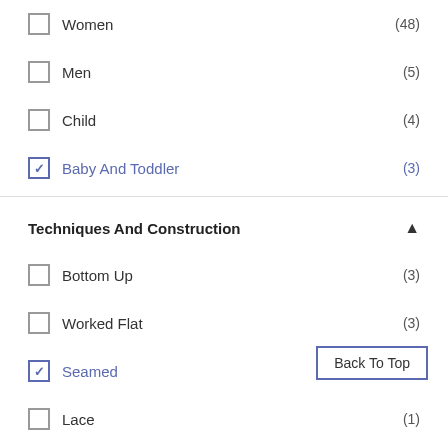Women (48)
Men (5)
Child (4)
Baby And Toddler (3)
Techniques And Construction
Bottom Up (3)
Worked Flat (3)
Seamed (2)
Lace (1)
Seamless (1)